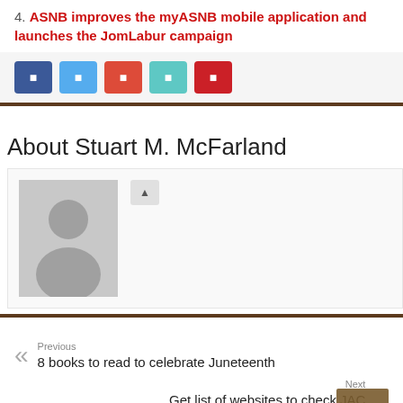4. ASNB improves the myASNB mobile application and launches the JomLabur campaign
[Figure (other): Social share buttons: Facebook, Twitter, Google+, LinkedIn, Pinterest]
About Stuart M. McFarland
[Figure (photo): Default avatar placeholder (grey silhouette) with a small icon button]
Previous
8 books to read to celebrate Juneteenth
Next
Get list of websites to check JAC Class 12 result link here